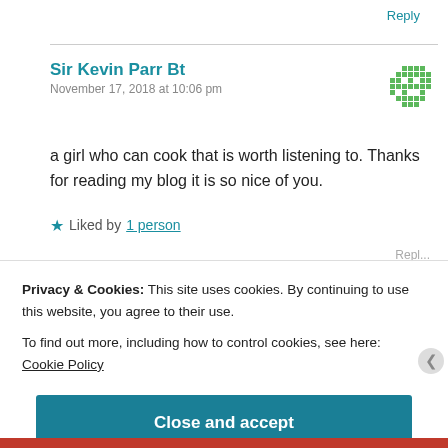Reply
Sir Kevin Parr Bt
November 17, 2018 at 10:06 pm
a girl who can cook that is worth listening to. Thanks for reading my blog it is so nice of you.
Liked by 1 person
Privacy & Cookies: This site uses cookies. By continuing to use this website, you agree to their use.
To find out more, including how to control cookies, see here: Cookie Policy
Close and accept